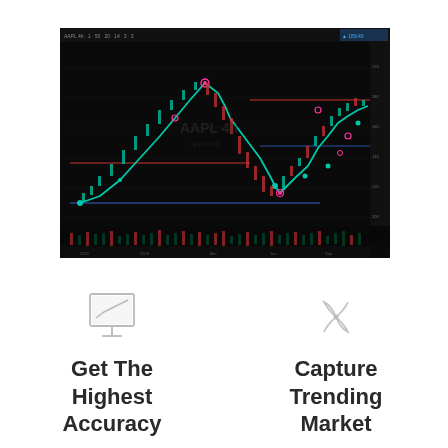[Figure (screenshot): A dark-themed stock trading chart (AAPL) with candlestick price data, teal/green zigzag trend lines with pink/magenta dots at key turning points, red horizontal resistance lines, blue horizontal support lines, and a volume histogram at the bottom. The watermark text 'AAPL 4h' and 'Apple Inc.' is visible in the center.]
[Figure (illustration): A light gray outline icon of a computer monitor with a rising trend chart/graph on its screen and a monitor stand beneath.]
Get The Highest Accuracy
[Figure (illustration): A light gray outline icon of a pinwheel or windmill shape with four triangular blades.]
Capture Trending Market